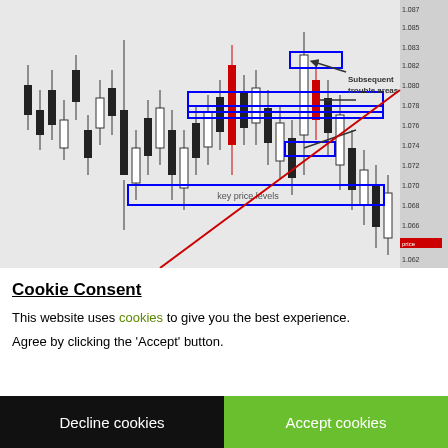[Figure (continuous-plot): Financial candlestick chart showing price action with blue horizontal rectangle zones marking support/resistance areas labeled 'key price levels', arrows pointing to 'Subsequent trouble areas' annotation, and a diagonal red trend line rising from lower left to upper right.]
Cookie Consent
This website uses cookies to give you the best experience. Agree by clicking the 'Accept' button.